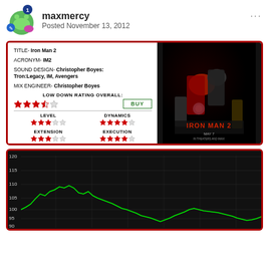maxmercy — Posted November 13, 2012
[Figure (infographic): Iron Man 2 movie review card with title, acronym, sound design, mix engineer credits, overall rating (3.5/5 stars), BUY recommendation, and sub-ratings for Level (3/5), Dynamics (4/5), Extension (3/5), Execution (4/5). Accompanied by Iron Man 2 movie poster.]
[Figure (continuous-plot): Audio level/dynamics line chart on black background with green line, y-axis from approximately 90 to 120, showing fluctuating audio levels over time.]